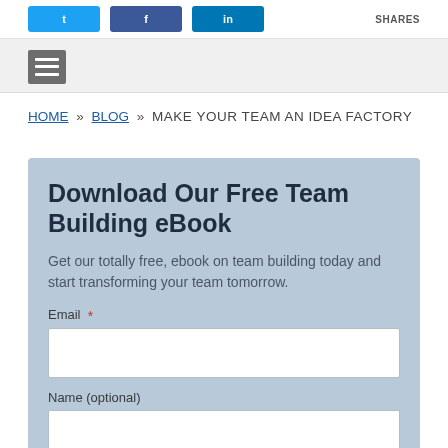[Figure (other): Social share buttons: Twitter (blue), Facebook (blue), LinkedIn (blue), and SHARES label on the right]
[Figure (other): Hamburger menu icon (three white horizontal lines on grey background)]
HOME » BLOG » MAKE YOUR TEAM AN IDEA FACTORY
Download Our Free Team Building eBook
Get our totally free, ebook on team building today and start transforming your team tomorrow.
Email  *
Name (optional)